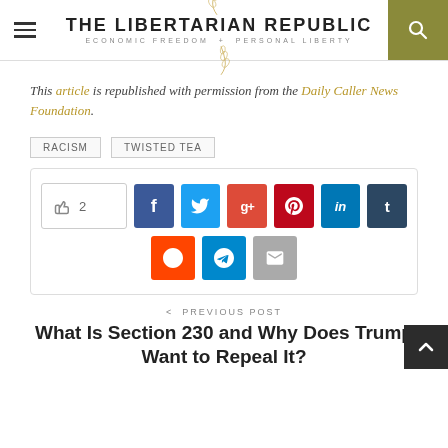THE LIBERTARIAN REPUBLIC — ECONOMIC FREEDOM + PERSONAL LIBERTY
This article is republished with permission from the Daily Caller News Foundation.
RACISM
TWISTED TEA
[Figure (other): Social share buttons row: like (2), Facebook, Twitter, Google+, Pinterest, LinkedIn, Tumblr; second row: Reddit, Telegram, Email]
< PREVIOUS POST
What Is Section 230 and Why Does Trump Want to Repeal It?